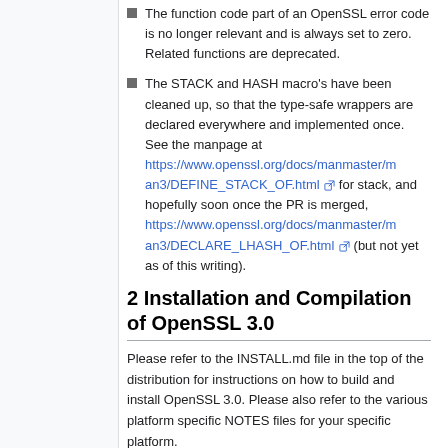The function code part of an OpenSSL error code is no longer relevant and is always set to zero. Related functions are deprecated.
The STACK and HASH macro's have been cleaned up, so that the type-safe wrappers are declared everywhere and implemented once. See the manpage at https://www.openssl.org/docs/manmaster/man3/DEFINE_STACK_OF.html for stack, and hopefully soon once the PR is merged, https://www.openssl.org/docs/manmaster/man3/DECLARE_LHASH_OF.html (but not yet as of this writing).
2 Installation and Compilation of OpenSSL 3.0
Please refer to the INSTALL.md file in the top of the distribution for instructions on how to build and install OpenSSL 3.0. Please also refer to the various platform specific NOTES files for your specific platform.
NOTE: The OpenSSL 3.0 alpha 1 release